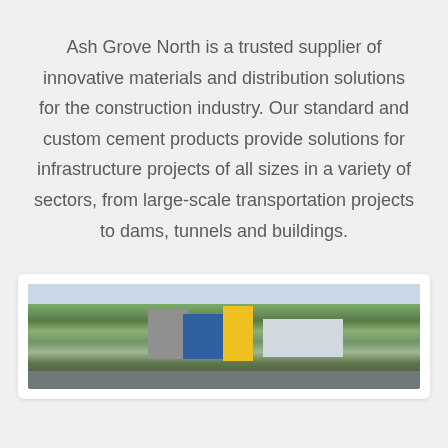Ash Grove North is a trusted supplier of innovative materials and distribution solutions for the construction industry. Our standard and custom cement products provide solutions for infrastructure projects of all sizes in a variety of sectors, from large-scale transportation projects to dams, tunnels and buildings.
[Figure (photo): Aerial photograph of an industrial facility, showing buildings with yellow and blue facades surrounded by green landscape and roads.]